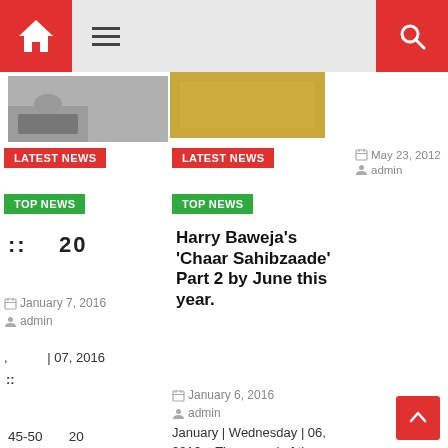Home | Menu | Search
[Figure (photo): Partial photo of people at a table (left column)]
[Figure (photo): Partial golden/yellow image (middle column)]
May 23, 2012  admin
LATEST NEWS
LATEST NEWS
TOP NEWS
TOP NEWS
Harry Baweja's 'Chaar Sahibzaade' Part 2 by June this year.
:: 20
January 7, 2016
admin
, | 07, 2016
::
January 6, 2016
admin
January | Wednesday | 06, 2016 :: The sequel of the record breaking
45-50  20